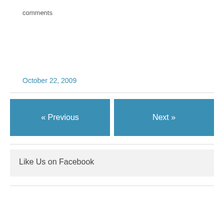comments
October 22, 2009
« Previous
Next »
Like Us on Facebook